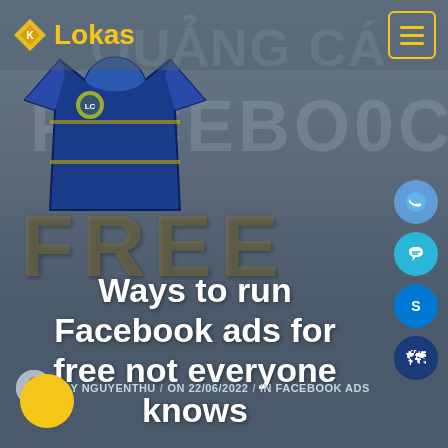[Figure (screenshot): Website header/blog post cover page for Lokas advertising agency. Shows a blue sports jersey, background text 'QUẢNG CÁ', 'FACEBOOK', 'FREE', logo with yellow 'Lokas' text, hamburger menu, social media icons on right side.]
Lokas / QUẢNG CÁ
Ways to run Facebook ads for free not everyone knows
BY NGUYENTHU / ON 22/06/2022 / IN FACEBOOK ADS